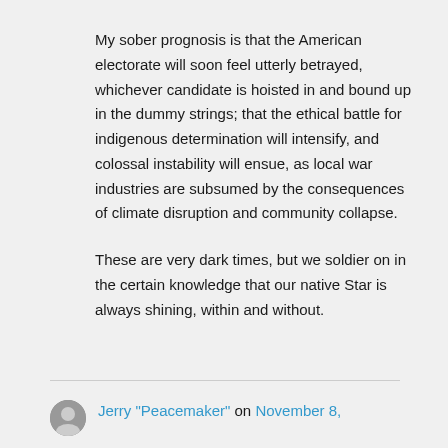My sober prognosis is that the American electorate will soon feel utterly betrayed, whichever candidate is hoisted in and bound up in the dummy strings; that the ethical battle for indigenous determination will intensify, and colossal instability will ensue, as local war industries are subsumed by the consequences of climate disruption and community collapse.

These are very dark times, but we soldier on in the certain knowledge that our native Star is always shining, within and without.
Jerry "Peacemaker" on November 8,